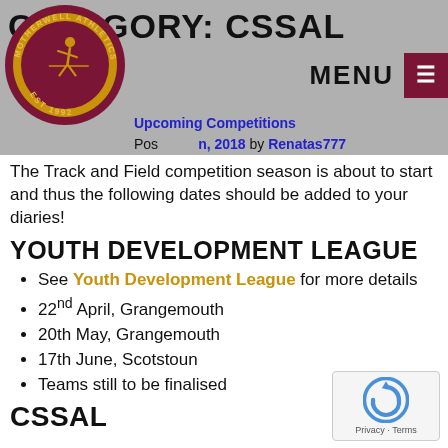CATEGORY: CSSAL
[Figure (logo): Motherwell Athletics Club circular logo, gold and maroon, EST 1992, with running figure]
Upcoming Competitions
Posted on March, 2018 by Renatas777
The Track and Field competition season is about to start and thus the following dates should be added to your diaries!
YOUTH DEVELOPMENT LEAGUE
See Youth Development League for more details
22nd April, Grangemouth
20th May, Grangemouth
17th June, Scotstoun
Teams still to be finalised
CSSAL